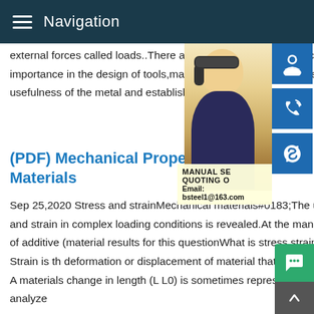Navigation
external forces called loads..There are a n lasting characteristics of the material in se importance in the design of tools,machines mechanical properties of metals are deter usefulness of the metal and establish
(PDF) Mechanical Properties Materials
Sep 25,2020 Stress and strainMechanical materials#0183;The use of material prope stress and strain in complex loading conditions is revealed.At the manufacturing stage,the notion of additive (material results for this questionWhat is stress strain?What is stress strain?Strain is th deformation or displacement of material that results from an applied stress.Note A materials change in length (L L0) is sometimes represented as .The most common way to analyze
[Figure (photo): Woman with headset customer service representative photo with blue icon buttons for support, phone, and Skype on the right side. Overlay shows MANUAL SE, QUOTING O, Email: bsteel1@163.com]
MANUAL SE
QUOTING O
Email: bsteel1@163.com